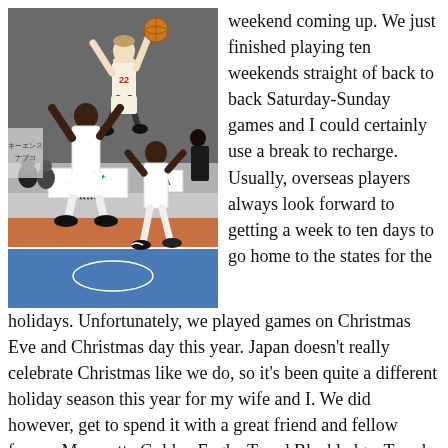[Figure (photo): Basketball game photo showing a player wearing jersey number 22 jumping to shoot, with two opposing players in white uniforms defending. The court has a blue and red/orange floor. A sign with Japanese katakana characters (ダイ) is visible in the background along with spectators.]
weekend coming up. We just finished playing ten weekends straight of back to back Saturday-Sunday games and I could certainly use a break to recharge. Usually, overseas players always look forward to getting a week to ten days to go home to the states for the holidays. Unfortunately, we played games on Christmas Eve and Christmas day this year. Japan doesn't really celebrate Christmas like we do, so it's been quite a different holiday season this year for my wife and I. We did however, get to spend it with a great friend and fellow former Marquette Golden Eagle, Trend Blackledge. Trend plays for Osaka Evessa, and it was great to match up against him on the floor and grab some grub afterwards. We didn't get the